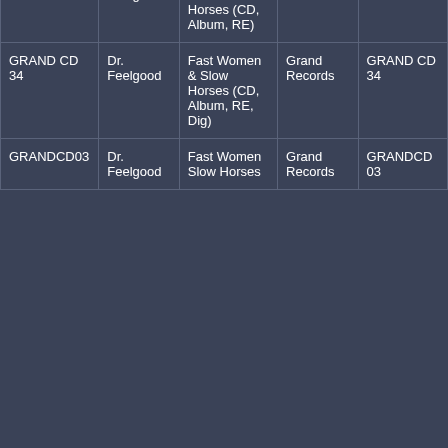|  |  | (Cass, Album) |  |  |
| CRCL-7002 | Dr. Feelgood | Fast Women & Slow Horses (CD, Album, RE) | Panfish | CRCL-7002 |
| GRAND CD 34 | Dr. Feelgood | Fast Women & Slow Horses (CD, Album, RE, Dig) | Grand Records | GRAND CD 34 |
| GRANDCD03 | Dr. Feelgood | Fast Women Slow Horses | Grand Records | GRANDCD03 |